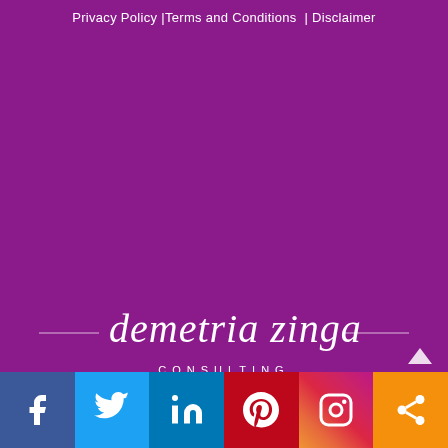Privacy Policy |Terms and Conditions  | Disclaimer
[Figure (logo): Demetria Zinga Consulting script logo in white on purple background]
Social media links: Facebook, Twitter, LinkedIn, Pinterest, Instagram, Share